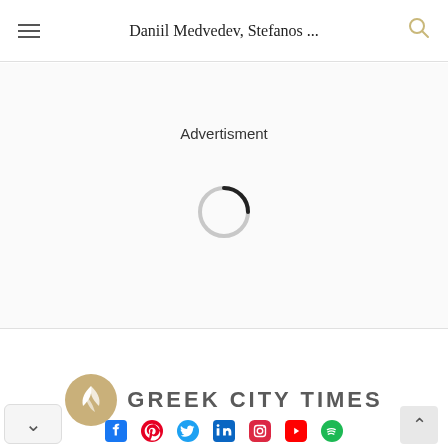Daniil Medvedev, Stefanos ...
Advertisment
[Figure (other): Loading spinner circle, partially filled in black on grey ring]
[Figure (logo): Greek City Times logo: tan/gold circular icon with white leaf/feather design, followed by GREEK CITY TIMES in wide grey sans-serif capitals]
Social icons: Facebook, Pinterest, Twitter, LinkedIn, Instagram, YouTube, Spotify